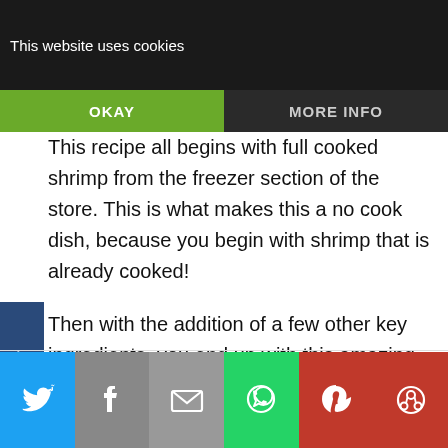This website uses cookies
OKAY
MORE INFO
This recipe all begins with full cooked shrimp from the freezer section of the store. This is what makes this a no cook dish, because you begin with shrimp that is already cooked!
Then with the addition of a few other key ingredients, you end up with this amazing quick shrimp! You will make a simple marinade with honey, lemon juice, lemon zest, fresh ginger, salt and pepper. Just let the shrimp chill in the fridge with the marinade until ready to serve.